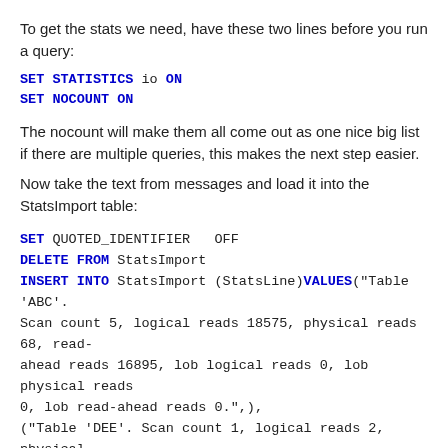To get the stats we need, have these two lines before you run a query:
SET STATISTICS io ON
SET NOCOUNT ON
The nocount will make them all come out as one nice big list if there are multiple queries, this makes the next step easier.
Now take the text from messages and load it into the StatsImport table:
SET QUOTED_IDENTIFIER  OFF
DELETE FROM StatsImport
INSERT INTO StatsImport (StatsLine)VALUES("Table 'ABC'. Scan count 5, logical reads 18575, physical reads 68, read-ahead reads 16895, lob logical reads 0, lob physical reads 0, lob read-ahead reads 0.",),
("Table 'DEE'. Scan count 1, logical reads 2, physical